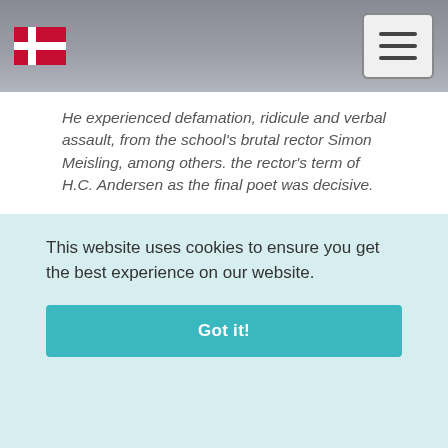[Header with Danish flag logo and hamburger menu]
He experienced defamation, ridicule and verbal assault, from the school's brutal rector Simon Meisling, among others. the rector's term of H.C. Andersen as the final poet was decisive.
H.C. Andersen did not like the structure of the school, and especially not the fact that the teaching lasted from kl. 9 in the morning until 18:00 in the evening.
Numerous styles and exams did not make any difference.
[Partially obscured text: ...ss, ...nd]
[Partially obscured text: ...n]
H.C. Andersen has writes 'the genius is an egg that needs warmth, to the fertility of happiness or it becomes a
This website uses cookies to ensure you get the best experience on our website.
Got it!